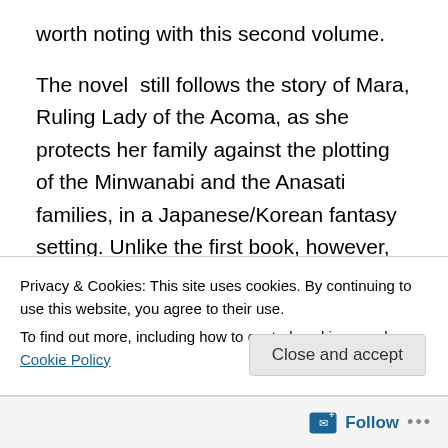worth noting with this second volume.
The novel still follows the story of Mara, Ruling Lady of the Acoma, as she protects her family against the plotting of the Minwanabi and the Anasati families, in a Japanese/Korean fantasy setting. Unlike the first book, however, Mara's perspective does not dominate, as we are also given the view of her new slave, a barbarian from another world, named Kevin.
The first thing a reader will notice about the second
Privacy & Cookies: This site uses cookies. By continuing to use this website, you agree to their use.
To find out more, including how to control cookies, see here: Cookie Policy
Close and accept
Follow